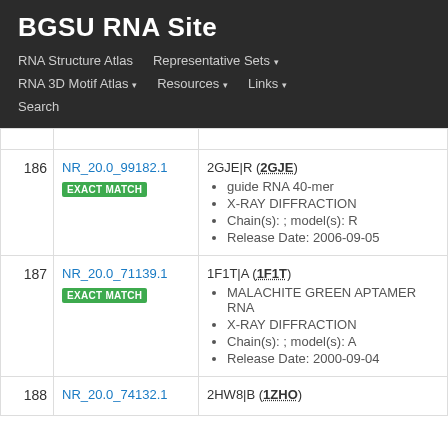BGSU RNA Site
RNA Structure Atlas | Representative Sets ▾ | RNA 3D Motif Atlas ▾ | Resources ▾ | Links ▾ | Search
| # | ID | Details |
| --- | --- | --- |
| 186 | NR_20.0_99182.1 EXACT MATCH | 2GJE|R (2GJE)
• guide RNA 40-mer
• X-RAY DIFFRACTION
• Chain(s): ; model(s): R
• Release Date: 2006-09-05 |
| 187 | NR_20.0_71139.1 EXACT MATCH | 1F1T|A (1F1T)
• MALACHITE GREEN APTAMER RNA
• X-RAY DIFFRACTION
• Chain(s): ; model(s): A
• Release Date: 2000-09-04 |
| 188 | NR_20.0_74132.1 | 2HW8|B (1ZHO) |